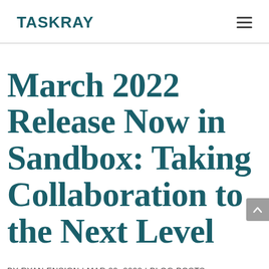TASKRAY
March 2022 Release Now in Sandbox: Taking Collaboration to the Next Level
BY RYAN ENSIGN | MAR 29, 2022 | BLOG POSTS